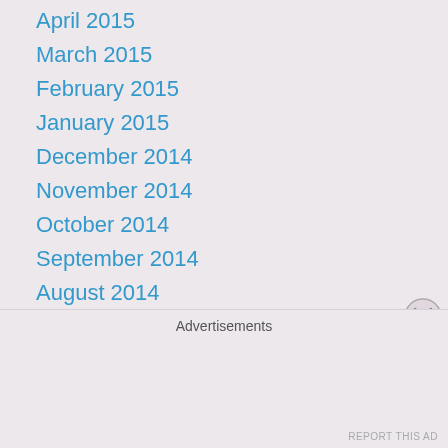April 2015
March 2015
February 2015
January 2015
December 2014
November 2014
October 2014
September 2014
August 2014
July 2014
June 2014
May 2014
Advertisements
REPORT THIS AD